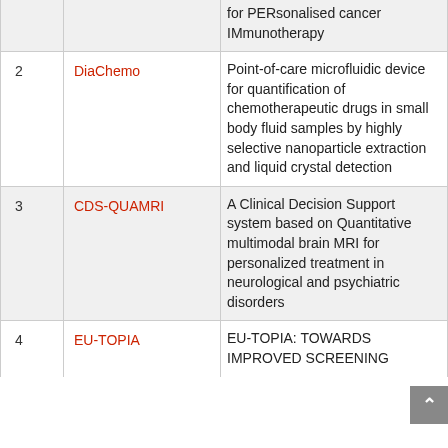| # | Name | Description |
| --- | --- | --- |
|  |  | for PERsonalised cancer IMmunotherapy |
| 2 | DiaChemo | Point-of-care microfluidic device for quantification of chemotherapeutic drugs in small body fluid samples by highly selective nanoparticle extraction and liquid crystal detection |
| 3 | CDS-QUAMRI | A Clinical Decision Support system based on Quantitative multimodal brain MRI for personalized treatment in neurological and psychiatric disorders |
| 4 | EU-TOPIA | EU-TOPIA: TOWARDS IMPROVED SCREENING |